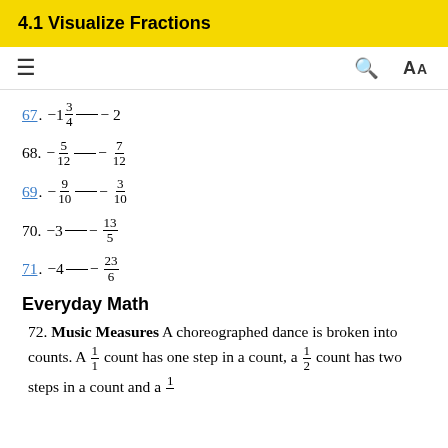4.1 Visualize Fractions
67. -1 3/4 ___ -2
68. -5/12 ___ -7/12
69. -9/10 ___ -3/10
70. -3 ___ -13/5
71. -4 ___ -23/6
Everyday Math
72. Music Measures A choreographed dance is broken into counts. A 1/1 count has one step in a count, a 1/2 count has two steps in a count and a 1/...